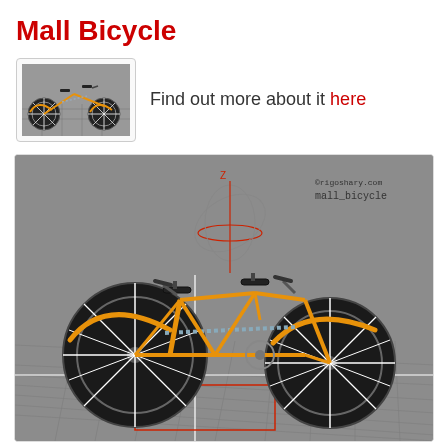Mall Bicycle
Find out more about it here
[Figure (illustration): Thumbnail of a 3D rendered mall bicycle model on a gray background - two-seater tandem bicycle in orange/yellow color]
[Figure (illustration): Large 3D render of a mall bicycle (tandem two-seater bicycle) in orange/yellow color on a gray grid background. The bicycle has two seats, two handlebars, chain link frame, and two large wheels with spokes. A globe/sphere rig is visible at the top center. Text in upper right reads 'rigoshary.com' and 'mall_bicycle'. Red rectangle outline visible on the ground grid.]